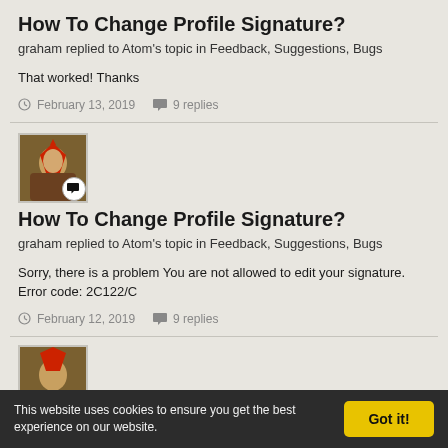How To Change Profile Signature?
graham replied to Atom's topic in Feedback, Suggestions, Bugs
That worked! Thanks
February 13, 2019   9 replies
[Figure (photo): User avatar thumbnail with speech bubble badge]
How To Change Profile Signature?
graham replied to Atom's topic in Feedback, Suggestions, Bugs
Sorry, there is a problem You are not allowed to edit your signature. Error code: 2C122/C
February 12, 2019   9 replies
[Figure (photo): Partial user avatar thumbnail at bottom]
This website uses cookies to ensure you get the best experience on our website.